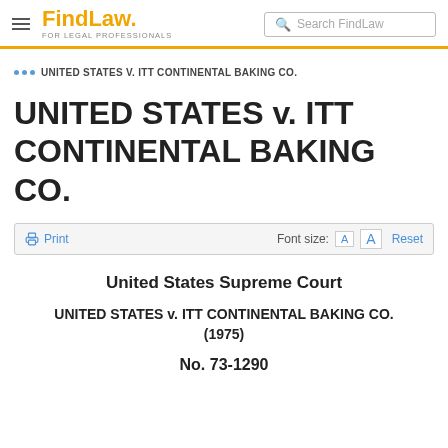FindLaw FOR LEGAL PROFESSIONALS | Search FindLaw
... UNITED STATES V. ITT CONTINENTAL BAKING CO.
UNITED STATES v. ITT CONTINENTAL BAKING CO.
Print | Font size: A A Reset
United States Supreme Court
UNITED STATES v. ITT CONTINENTAL BAKING CO. (1975)
No. 73-1290